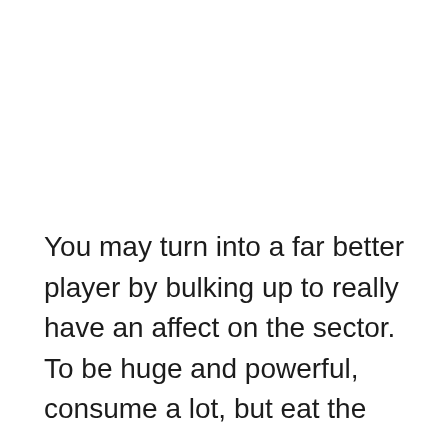You may turn into a far better player by bulking up to really have an affect on the sector. To be huge and powerful, consume a lot, but eat the